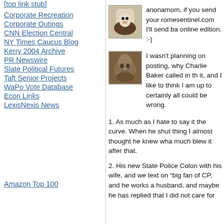Corporate Recreation
Corporate Outings
CNN Election Central
NY Times Caucus Blog
Kerry 2004 Archive
PR Newswire
Slate Political Futures
Taft Senior Projects
WaPo Vote Database
Econ Links
LexisNexis News
Amazon Top 100
anonamom, if you send your romesentinel.com I'll send back online edition. :-)
I wasn't planning on posting, why Charlie Baker called in th it, and I like to think I am up to certainly all could be wrong.
1. As much as I hate to say it the curve. When he shut thing I almost thought he knew wha much blew it after that.
2. His new State Police Colon with his wife, and we text on “big fan of CP, and he works a husband, and maybe he has replied that I did not care for